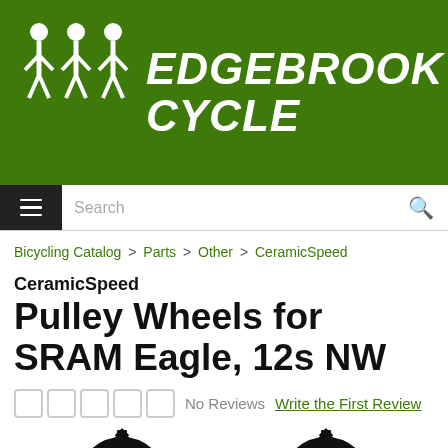[Figure (logo): Edgebrook Cycle logo with three white cyclist figures and italic white bold text 'EDGEBROOK CYCLE' on green background]
Search
Bicycling Catalog > Parts > Other > CeramicSpeed
CeramicSpeed
Pulley Wheels for SRAM Eagle, 12s NW
No Reviews  Write the First Review
[Figure (photo): Two black CeramicSpeed pulley wheels at bottom of page]